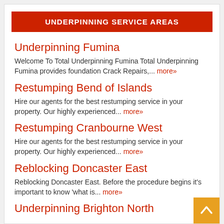UNDERPINNING SERVICE AREAS
Underpinning Fumina
Welcome To Total Underpinning Fumina Total Underpinning Fumina provides foundation Crack Repairs,... more»
Restumping Bend of Islands
Hire our agents for the best restumping service in your property. Our highly experienced... more»
Restumping Cranbourne West
Hire our agents for the best restumping service in your property. Our highly experienced... more»
Reblocking Doncaster East
Reblocking Doncaster East. Before the procedure begins it's important to know 'what is... more»
Underpinning Brighton North